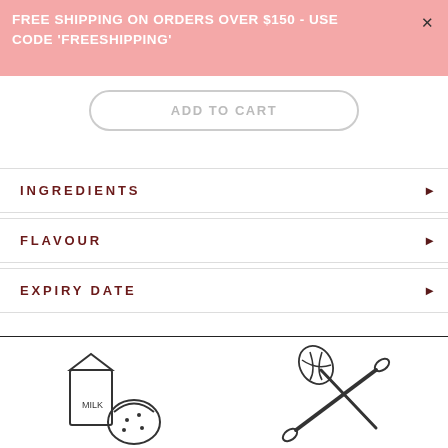FREE SHIPPING ON ORDERS OVER $150 - USE CODE 'FREESHIPPING'
ADD TO CART
INGREDIENTS
FLAVOUR
EXPIRY DATE
[Figure (illustration): Line drawing of a milk carton with a bag of ingredients beside it]
[Figure (illustration): Line drawing of a rolling pin and a whisk crossed over each other]